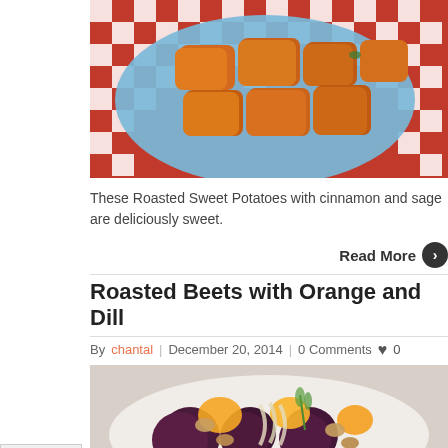[Figure (photo): Roasted sweet potato chunks on a blue plate over a red and white checkered tablecloth]
These Roasted Sweet Potatoes with cinnamon and sage are deliciously sweet.
Read More ❯
Roasted Beets with Orange and Dill
By chantal | December 20, 2014 | 0 Comments ♥ 0
[Figure (photo): Roasted beets with orange slices, fennel, walnuts, and dill in a white dish]